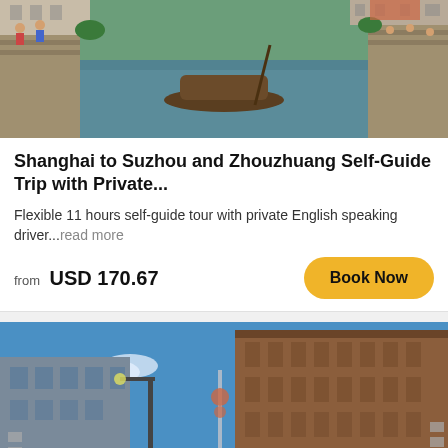[Figure (photo): Canal scene in Zhouzhuang with boats on water, stone steps, and people seated at riverside]
Shanghai to Suzhou and Zhouzhuang Self-Guide Trip with Private...
Flexible 11 hours self-guide tour with private English speaking driver...read more
from USD 170.67
Book Now
[Figure (photo): Street-level view of Shanghai city with tall historic buildings, blue sky with clouds, and the Oriental Pearl Tower visible in background]